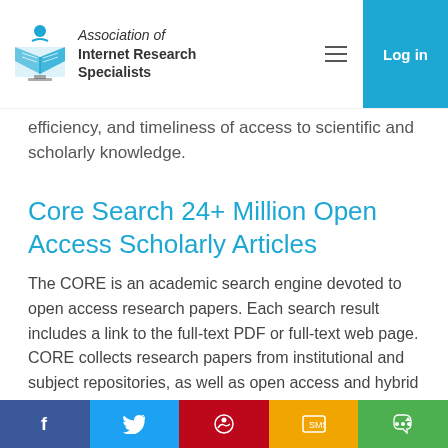Association of Internet Research Specialists
efficiency, and timeliness of access to scientific and scholarly knowledge.
Core Search 24+ Million Open Access Scholarly Articles
The CORE is an academic search engine devoted to open access research papers. Each search result includes a link to the full-text PDF or full-text web page. CORE collects research papers from institutional and subject repositories, as well as open access and hybrid journals.
Copyright Clearance Center